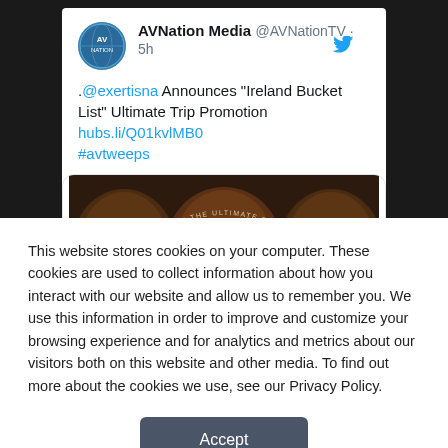AVNation Media @AVNationTV · 5h
.@exertisna Announces "Ireland Bucket List" Ultimate Trip Promotion hubs.li/Q01kvlMB0
#avtweeps
[Figure (photo): Ireland Bucket List Ultimate Trip Promotion banner showing wooden barrels with Ireland branding and sponsor logos including Legrand, LG, Sharp, Samsung, Epson]
This website stores cookies on your computer. These cookies are used to collect information about how you interact with our website and allow us to remember you. We use this information in order to improve and customize your browsing experience and for analytics and metrics about our visitors both on this website and other media. To find out more about the cookies we use, see our Privacy Policy.
Accept